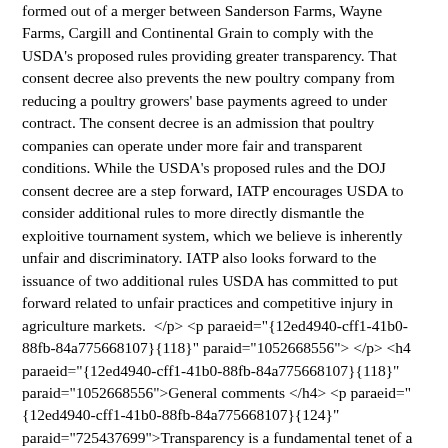formed out of a merger between Sanderson Farms, Wayne Farms, Cargill and Continental Grain to comply with the USDA's proposed rules providing greater transparency. That consent decree also prevents the new poultry company from reducing a poultry growers' base payments agreed to under contract. The consent decree is an admission that poultry companies can operate under more fair and transparent conditions. While the USDA's proposed rules and the DOJ consent decree are a step forward, IATP encourages USDA to consider additional rules to more directly dismantle the exploitive tournament system, which we believe is inherently unfair and discriminatory. IATP also looks forward to the issuance of two additional rules USDA has committed to put forward related to unfair practices and competitive injury in agriculture markets.  </p> <p paraeid="{12ed4940-cff1-41b0-88fb-84a775668107}{118}" paraid="1052668556"> </p> <h4 paraeid="{12ed4940-cff1-41b0-88fb-84a775668107}{118}" paraid="1052668556">General comments </h4> <p paraeid="{12ed4940-cff1-41b0-88fb-84a775668107}{124}" paraid="725437699">Transparency is a fundamental tenet of a functioning market. Transparency is necessary for the buyer to know fully what they are purchasing. Transparency for the seller is essential to know what they will be paid for their service or product. It has been clear for more than a decade that modern poultry contracts utilizing the tournament system offer asymmetrical information: the company has full information (and